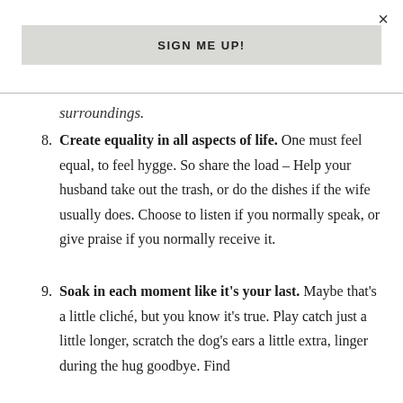×
SIGN ME UP!
surroundings.
8. Create equality in all aspects of life. One must feel equal, to feel hygge. So share the load – Help your husband take out the trash, or do the dishes if the wife usually does. Choose to listen if you normally speak, or give praise if you normally receive it.
9. Soak in each moment like it's your last. Maybe that's a little cliché, but you know it's true. Play catch just a little longer, scratch the dog's ears a little extra, linger during the hug goodbye. Find